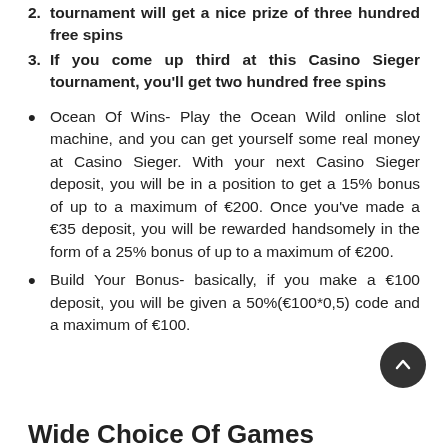2. The runner up of this Casino Sieger tournament will get a nice prize of three hundred free spins
3. If you come up third at this Casino Sieger tournament, you'll get two hundred free spins
Ocean Of Wins- Play the Ocean Wild online slot machine, and you can get yourself some real money at Casino Sieger. With your next Casino Sieger deposit, you will be in a position to get a 15% bonus of up to a maximum of €200. Once you've made a €35 deposit, you will be rewarded handsomely in the form of a 25% bonus of up to a maximum of €200.
Build Your Bonus- basically, if you make a €100 deposit, you will be given a 50%(€100*0,5) code and a maximum of €100.
Wide Choice Of Games